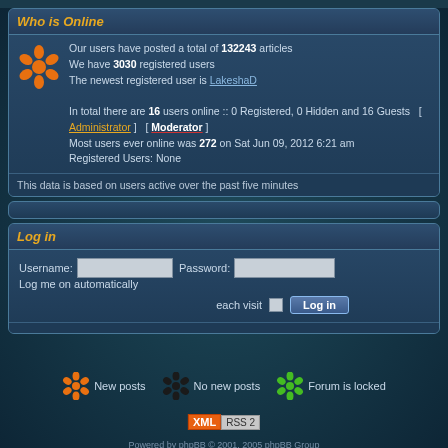Who is Online
Our users have posted a total of 132243 articles
We have 3030 registered users
The newest registered user is LakeshaD

In total there are 16 users online :: 0 Registered, 0 Hidden and 16 Guests  [ Administrator ]  [ Moderator ]
Most users ever online was 272 on Sat Jun 09, 2012 6:21 am
Registered Users: None
This data is based on users active over the past five minutes
Log in
Username: [input] Password: [input] Log me on automatically each visit [checkbox] Log in [button]
[Figure (infographic): Three forum post status icons with labels: orange asterisk = New posts, black asterisk = No new posts, green asterisk = Forum is locked]
[Figure (other): XML RSS 2 badge]
Powered by phpBB © 2001, 2005 phpBB Group